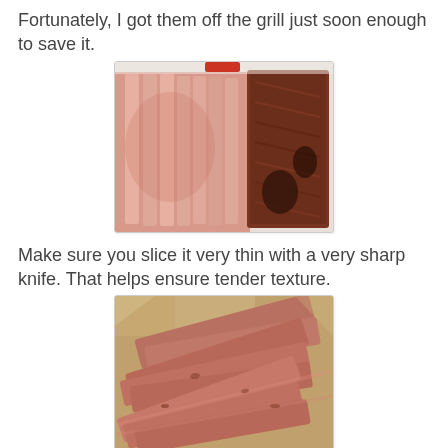Fortunately, I got them off the grill just soon enough to save it.
[Figure (photo): Sliced grilled meat on a white cutting board, showing pink interior slices on the left and a dark charred exterior piece on the right.]
Make sure you slice it very thin with a very sharp knife. That helps ensure tender texture.
[Figure (photo): Thinly sliced grilled meat pieces arranged on foil in a baking pan, showing pink interior with seasoned exterior.]